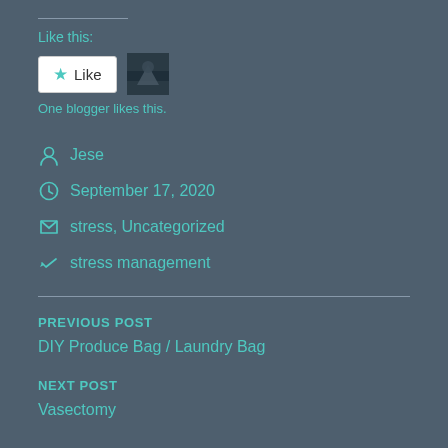Like this:
[Figure (other): WordPress Like button widget with a star icon and the text 'Like', alongside a small avatar thumbnail image of a blogger]
One blogger likes this.
Jese
September 17, 2020
stress, Uncategorized
stress management
PREVIOUS POST
DIY Produce Bag / Laundry Bag
NEXT POST
Vasectomy